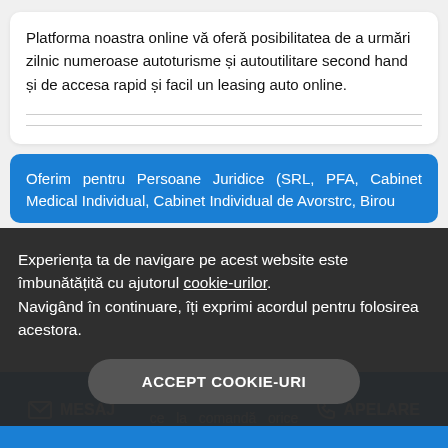Platforma noastra online vă oferă posibilitatea de a urmări zilnic numeroase autoturisme și autoutilitare second hand și de accesa rapid și facil un leasing auto online.
Oferim pentru Persoane Juridice (SRL, PFA, Cabinet Medical Individual, Cabinet Individual de Avorstrc, Birou...
Experiența ta de navigare pe acest website este îmbunătățită cu ajutorul cookie-urilor. Navigând în continuare, îți exprimi acordul pentru folosirea acestora.
ACCEPT COOKIE-URI
MESAJ
ce la comandă orice
APELARE